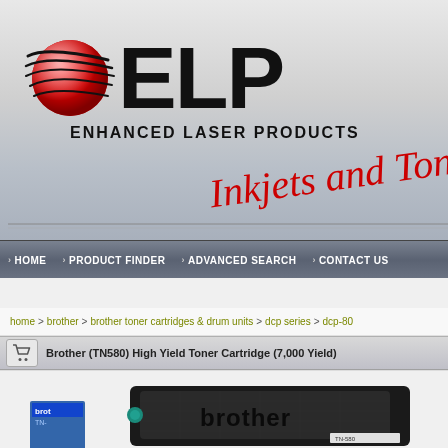[Figure (logo): ELP Enhanced Laser Products logo with red globe/swoosh graphic, large ELP text, and 'Inkjets and Toners' in red cursive script]
HOME  PRODUCT FINDER  ADVANCED SEARCH  CONTACT US
home > brother > brother toner cartridges & drum units > dcp series > dcp-80
Brother (TN580) High Yield Toner Cartridge (7,000 Yield)
[Figure (photo): Brother TN-580 High Yield black toner cartridge with product box showing 'brother' branding and TN-580 label]